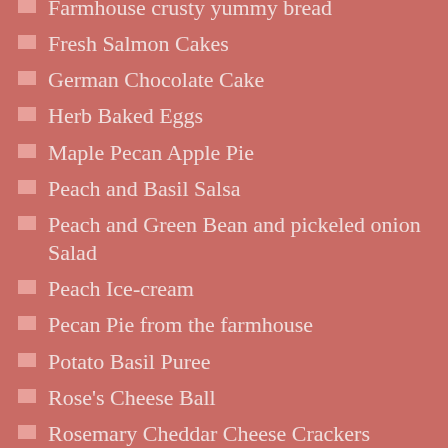Farmhouse crusty yummy bread
Fresh Salmon Cakes
German Chocolate Cake
Herb Baked Eggs
Maple Pecan Apple Pie
Peach and Basil Salsa
Peach and Green Bean and pickeled onion Salad
Peach Ice-cream
Pecan Pie from the farmhouse
Potato Basil Puree
Rose's Cheese Ball
Rosemary Cheddar Cheese Crackers
Rotkohl – Red Cabbage with apples
Rustic Farmhouse Lasagna
Salsa Verde Honey Lime Pepper Jack Chicken Enchiladas
Sangria
Sausage Dip from the Farmhouse